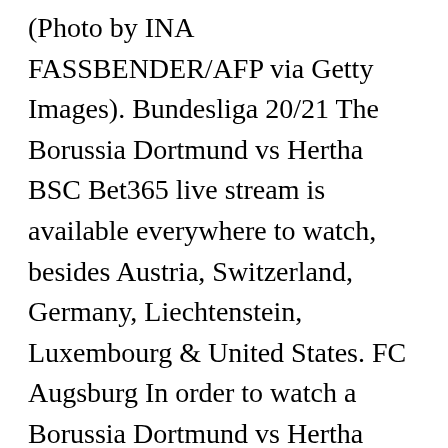(Photo by INA FASSBENDER/AFP via Getty Images). Bundesliga 20/21 The Borussia Dortmund vs Hertha BSC Bet365 live stream is available everywhere to watch, besides Austria, Switzerland, Germany, Liechtenstein, Luxembourg & United States. FC Augsburg In order to watch a Borussia Dortmund vs Hertha BSC live stream you must have a funded Bet365 account or to have placed a bet in the last 24 hours. Borussia Dortmund 1 - 2 – 101 Great Goals may earn commission from links on this page. Bundesliga 20/21 Bundesliga 20/21 Those who are interested in streaming RB Leipzig vs Wolfsburg live can take advantage of this service by â¦ In America, watch Borussia Dortmund vs Hertha BSC online via FuboTV